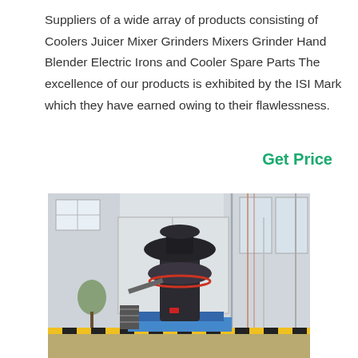Suppliers of a wide array of products consisting of Coolers Juicer Mixer Grinders Mixers Grinder Hand Blender Electric Irons and Cooler Spare Parts The excellence of our products is exhibited by the ISI Mark which they have earned owing to their flawlessness.
Get Price
[Figure (photo): Photo of a large industrial grinding machine inside a factory warehouse. The machine is a tall cylindrical vertical grinder/crusher mounted on a platform with yellow hazard striped edges. The factory has high ceilings with windows and large garage doors in the background.]